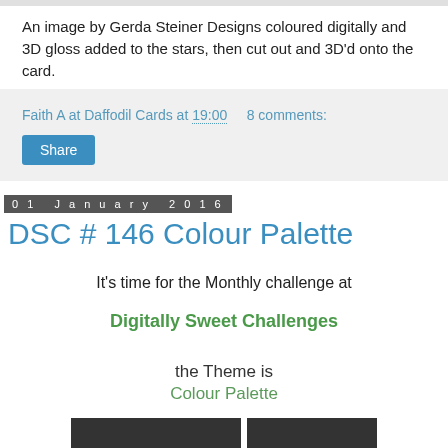An image by Gerda Steiner Designs coloured digitally and 3D gloss added to the stars, then cut out and 3D'd onto the card.
Faith A at Daffodil Cards at 19:00   8 comments:
Share
01 January 2016
DSC # 146 Colour Palette
It's time for the Monthly challenge at
Digitally Sweet Challenges
the Theme is
Colour Palette
[Figure (photo): Two dark rectangular image placeholders at the bottom of the page]